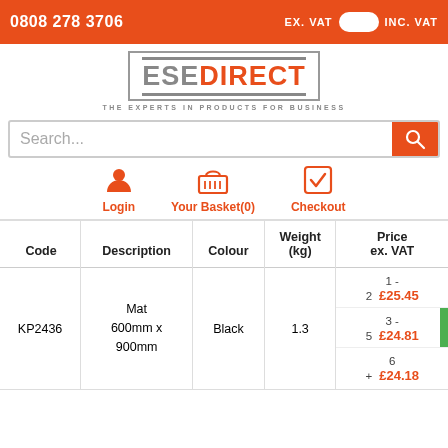0808 278 3706  EX. VAT  [toggle]  INC. VAT
[Figure (logo): ESEDirect logo with tagline: THE EXPERTS IN PRODUCTS FOR BUSINESS]
Search...
Login  Your Basket(0)  Checkout
| Code | Description | Colour | Weight (kg) | Price ex. VAT |
| --- | --- | --- | --- | --- |
| KP2436 | Mat 600mm x 900mm | Black | 1.3 | 1 - 2  £25.45 |
|  |  |  |  | 3 - 5  £24.81 |
|  |  |  |  | 6 +  £24.18 |